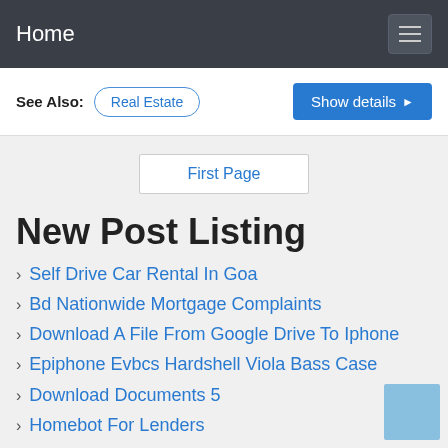Home
See Also: Real Estate — Show details
First Page
New Post Listing
Self Drive Car Rental In Goa
Bd Nationwide Mortgage Complaints
Download A File From Google Drive To Iphone
Epiphone Evbcs Hardshell Viola Bass Case
Download Documents 5
Homebot For Lenders
Spiderman Rotten Tomatoes No Way Home